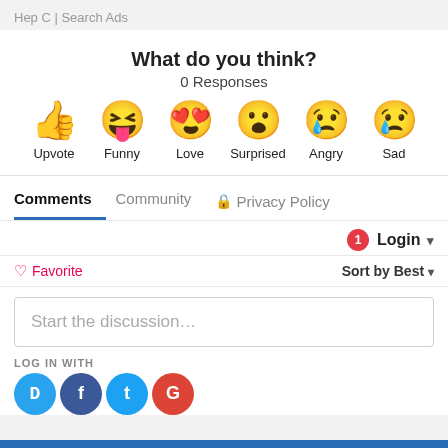Hep C | Search Ads
What do you think?
0 Responses
[Figure (infographic): Six reaction emoji icons in a row: Upvote (thumbs up), Funny (laughing face with tongue), Love (heart eyes), Surprised (surprised face), Angry (crying face), Sad (sad face with tear). Each emoji is labeled below.]
Comments  Community  🔒 Privacy Policy
Login ▾
♡ Favorite   Sort by Best ▾
Start the discussion...
LOG IN WITH